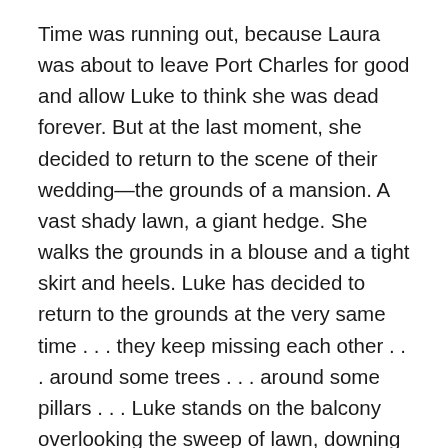Time was running out, because Laura was about to leave Port Charles for good and allow Luke to think she was dead forever. But at the last moment, she decided to return to the scene of their wedding—the grounds of a mansion. A vast shady lawn, a giant hedge. She walks the grounds in a blouse and a tight skirt and heels. Luke has decided to return to the grounds at the very same time . . . they keep missing each other . . . around some trees . . . around some pillars . . . Luke stands on the balcony overlooking the sweep of lawn, downing champagne in his grief . . . he is about to leave . . . and then he sees a woman in the distance, walking toward the gazebo . . . he drops his glass, leans forward, cannot speak, spins around, runs through the mansion and onto the grass. . . .
“Laura!” He holds his hands out in front of him like a